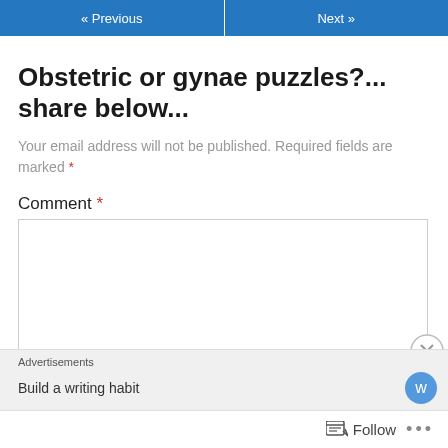« Previous   Next »
Obstetric or gynae puzzles?... share below...
Your email address will not be published. Required fields are marked *
Comment *
[Figure (screenshot): Comment text area input box, empty]
Advertisements  Build a writing habit
Follow ...